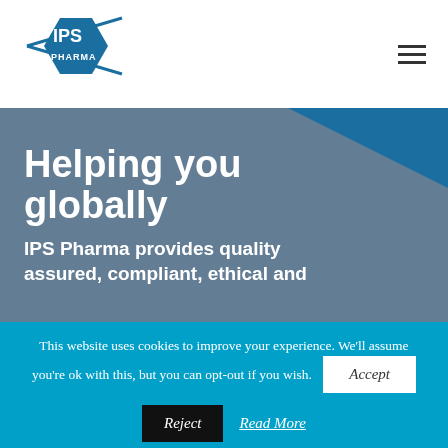[Figure (logo): IPS Pharma hexagonal logo in dark blue/teal with 'IPS' in bold white text and 'PHARMA' below, with two crossing lines through the hexagon]
Helping you globally
IPS Pharma provides quality assured, compliant, ethical and
This website uses cookies to improve your experience. We'll assume you're ok with this, but you can opt-out if you wish.
Accept
Reject
Read More